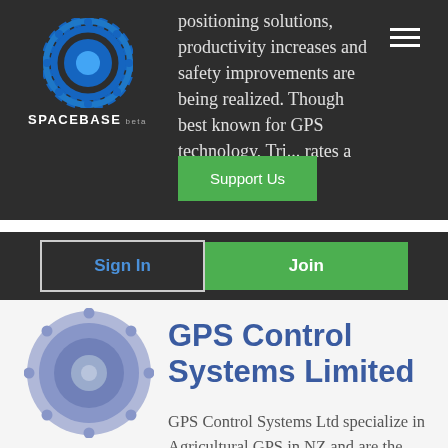[Figure (logo): Spacebase logo - circular gear/satellite icon in blue on dark background with text SPACEBASE beta]
positioning solutions, productivity increases and safety improvements are being realized. Though best known for GPS technology, Tri... rates a wide
[Figure (screenshot): Support Us green button overlay]
[Figure (screenshot): Sign In (outlined button) and Join (green button) navigation buttons]
[Figure (logo): GPS Control Systems Limited circular logo - blue/lavender gear icon]
GPS Control Systems Limited
GPS Control Systems Ltd specialize in Agricultural GPS in NZ and are the Trimble Agricultural GPS Re-seller for New Zealand. We pride ourselves on giving the best service in the Precision Farming Community in New Zealand, and More than 40